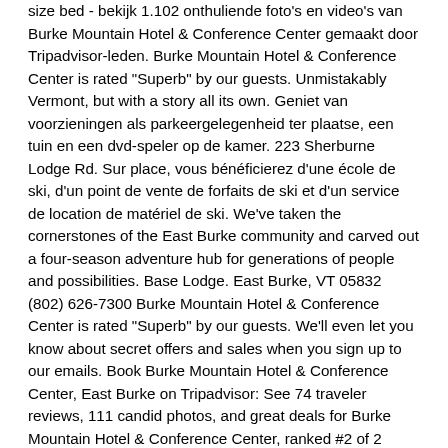size bed - bekijk 1.102 onthuliende foto's en video's van Burke Mountain Hotel & Conference Center gemaakt door Tripadvisor-leden. Burke Mountain Hotel & Conference Center is rated "Superb" by our guests. Unmistakably Vermont, but with a story all its own. Geniet van voorzieningen als parkeergelegenheid ter plaatse, een tuin en een dvd-speler op de kamer. 223 Sherburne Lodge Rd. Sur place, vous bénéficierez d'une école de ski, d'un point de vente de forfaits de ski et d'un service de location de matériel de ski. We've taken the cornerstones of the East Burke community and carved out a four-season adventure hub for generations of people and possibilities. Base Lodge. East Burke, VT 05832 (802) 626-7300 Burke Mountain Hotel & Conference Center is rated "Superb" by our guests. We'll even let you know about secret offers and sales when you sign up to our emails. Book Burke Mountain Hotel & Conference Center, East Burke on Tripadvisor: See 74 traveler reviews, 111 candid photos, and great deals for Burke Mountain Hotel & Conference Center, ranked #2 of 2 hotels in East Burke and rated 4 of 5 at Tripadvisor. Vergelijk prijzen en boek hotels in de buurt van Burke Mountain Hotel & Conference Center, East Burke. Neem een kijkje door onze afbeeldingen, lees de gastenbeoordelingen en boek nu met onze Prijsgarantie. In de buurt vind je talrijkstere